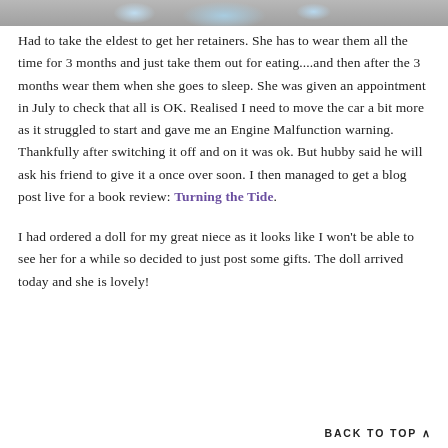[Figure (photo): Partial top view of a photo showing what appears to be a soft/furry surface with a light blue object, cropped at the top of the page]
Had to take the eldest to get her retainers. She has to wear them all the time for 3 months and just take them out for eating....and then after the 3 months wear them when she goes to sleep. She was given an appointment in July to check that all is OK. Realised I need to move the car a bit more as it struggled to start and gave me an Engine Malfunction warning. Thankfully after switching it off and on it was ok. But hubby said he will ask his friend to give it a once over soon. I then managed to get a blog post live for a book review: Turning the Tide.
I had ordered a doll for my great niece as it looks like I won't be able to see her for a while so decided to just post some gifts. The doll arrived today and she is lovely!
BACK TO TOP ∧